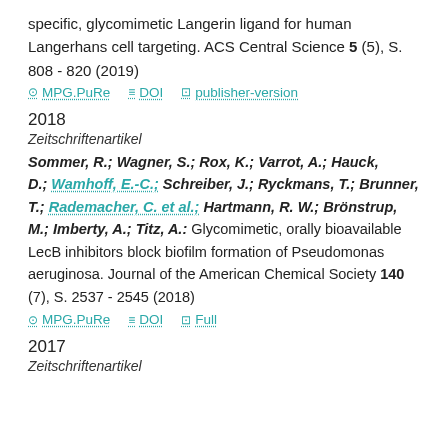specific, glycomimetic Langerin ligand for human Langerhans cell targeting. ACS Central Science 5 (5), S. 808 - 820 (2019)
MPG.PuRe  DOI  publisher-version
2018
Zeitschriftenartikel
Sommer, R.; Wagner, S.; Rox, K.; Varrot, A.; Hauck, D.; Wamhoff, E.-C.; Schreiber, J.; Ryckmans, T.; Brunner, T.; Rademacher, C. et al.; Hartmann, R. W.; Brönstrup, M.; Imberty, A.; Titz, A.: Glycomimetic, orally bioavailable LecB inhibitors block biofilm formation of Pseudomonas aeruginosa. Journal of the American Chemical Society 140 (7), S. 2537 - 2545 (2018)
MPG.PuRe  DOI  Full
2017
Zeitschriftenartikel